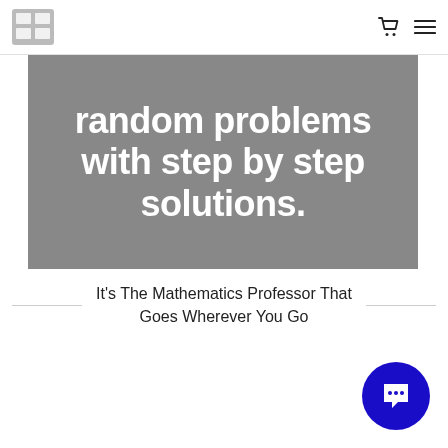[Logo] [Cart icon] [Menu icon]
random problems with step by step solutions.
It's The Mathematics Professor That Goes Wherever You Go
[Figure (illustration): Blue circular chat/message button in the bottom right corner]